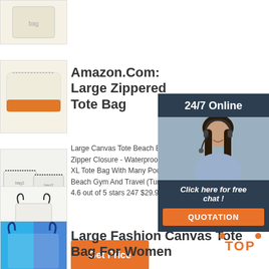[Figure (photo): Thumbnail of a canvas tote bag, partial view at top]
[Figure (photo): Thumbnail of a white/cream zippered pouch with orange bottom trim]
Amazon.Com: Large Zippered Tote Bag
Large Canvas Tote Beach Bag Zipper Closure - Waterproof L XL Tote Bag With Many Pockets Beach Gym And Travel (Turq 4.6 out of 5 stars 247 $29.99
[Figure (photo): Thumbnail of two small white zippered bags with black zippers]
[Figure (photo): Chat widget overlay showing woman with headset, 24/7 Online text, Click here for free chat, QUOTATION button]
Get Price
[Figure (photo): Thumbnail of a white canvas tote bag with black handles]
[Figure (photo): Thumbnail of blue canvas tote bag with blue handles]
[Figure (photo): Thumbnail of another bag, partially visible at bottom]
Large Fashion Canvas Tote Bag For Women